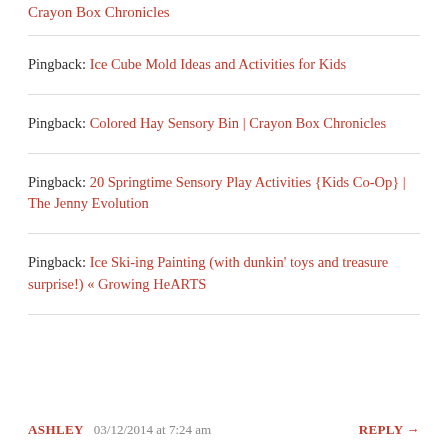Crayon Box Chronicles
Pingback: Ice Cube Mold Ideas and Activities for Kids
Pingback: Colored Hay Sensory Bin | Crayon Box Chronicles
Pingback: 20 Springtime Sensory Play Activities {Kids Co-Op} | The Jenny Evolution
Pingback: Ice Ski-ing Painting (with dunkin' toys and treasure surprise!) « Growing HeARTS
ASHLEY   03/12/2014 at 7:24 am   REPLY →